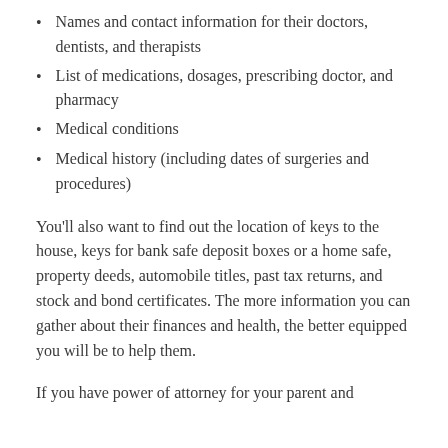Names and contact information for their doctors, dentists, and therapists
List of medications, dosages, prescribing doctor, and pharmacy
Medical conditions
Medical history (including dates of surgeries and procedures)
You’ll also want to find out the location of keys to the house, keys for bank safe deposit boxes or a home safe, property deeds, automobile titles, past tax returns, and stock and bond certificates. The more information you can gather about their finances and health, the better equipped you will be to help them.
If you have power of attorney for your parent and